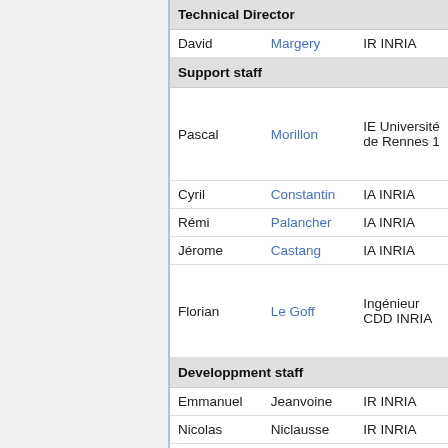| First Name | Last Name | Role |
| --- | --- | --- |
| [Technical Director] |  |  |
| David | Margery | IR INRIA |
| [Support staff] |  |  |
| Pascal | Morillon | IE Université de Rennes 1 |
| Cyril | Constantin | IA INRIA |
| Rémi | Palancher | IA INRIA |
| Jérome | Castang | IA INRIA |
| Florian | Le Goff | Ingénieur CDD INRIA |
| [Developpment staff] |  |  |
| Emmanuel | Jeanvoine | IR INRIA |
| Nicolas | Niclausse | IR INRIA |
| Benjamin | Dexheimer | IE INRIA |
| Cyril | Rohr | IA INRIA |
| Oana | Goga | IA INRIA |